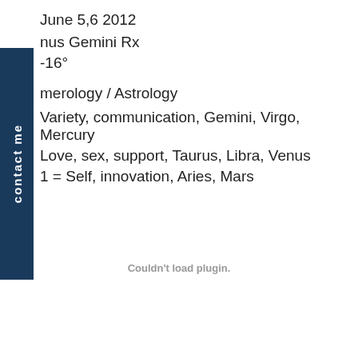June 5,6 2012
Venus Gemini Rx
-16°
merology / Astrology
Variety, communication, Gemini, Virgo, Mercury
Love, sex, support, Taurus, Libra, Venus
Self, innovation, Aries, Mars
Couldn't load plugin.